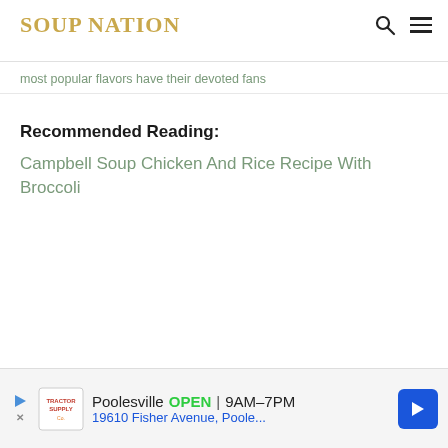SOUP NATION
most popular flavors have their devoted fans
Recommended Reading:
Campbell Soup Chicken And Rice Recipe With Broccoli
[Figure (other): Advertisement banner: Poolesville OPEN 9AM-7PM, 19610 Fisher Avenue, Poole... with Tractor Supply Co logo and navigation arrow icon]